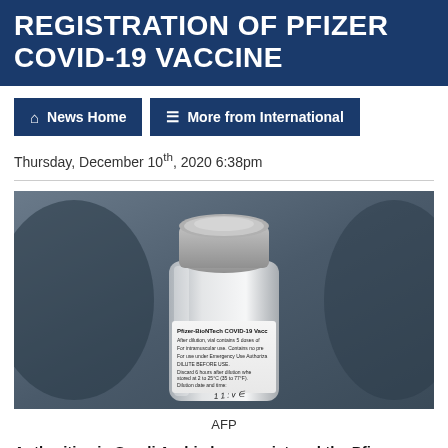REGISTRATION OF PFIZER COVID-19 VACCINE
News Home
More from International
Thursday, December 10th, 2020 6:38pm
[Figure (photo): Close-up photograph of a Pfizer-BioNTech COVID-19 vaccine vial with silver cap. The label reads: Pfizer-BioNTech COVID-19 Vacc... After dilution, vial contains 5 doses of... For intramuscular use. Contains no pres... For use under Emergency Use Authoriz... DILUTE BEFORE USE. Discard 6 hours after dilution when stored at 2 to 25°C (35 to 77°F). Dilution date and time:]
AFP
Authorities in Saudi Arabia have registered the Pfizer-